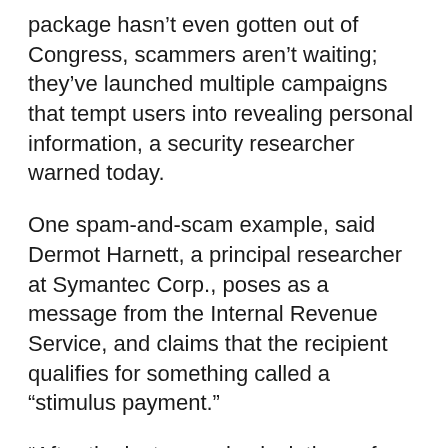package hasn't even gotten out of Congress, scammers aren't waiting; they've launched multiple campaigns that tempt users into revealing personal information, a security researcher warned today.
One spam-and-scam example, said Dermot Harnett, a principal researcher at Symantec Corp., poses as a message from the Internal Revenue Service, and claims that the recipient qualifies for something called a “stimulus payment.”
“After the last annual calculations of your fiscal activity, we have determined that you are eligible to receive a stimulus payment,” the bogus e-mail reads.
The message then tells the user to download the attached document, supposedly a form that must be